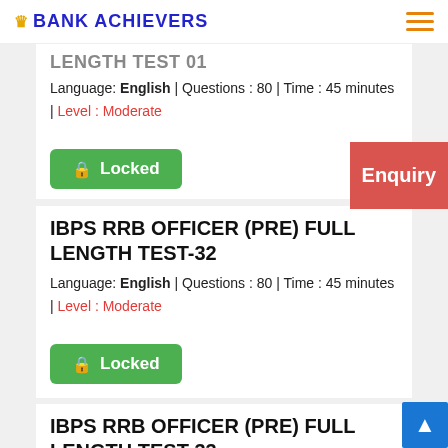BANK ACHIEVERS
LENGTH TEST 01
Language: English | Questions : 80 | Time : 45 minutes | Level : Moderate
Locked
IBPS RRB OFFICER (PRE) FULL LENGTH TEST-32
Language: English | Questions : 80 | Time : 45 minutes | Level : Moderate
Locked
IBPS RRB OFFICER (PRE) FULL LENGTH TEST-33
Enquiry